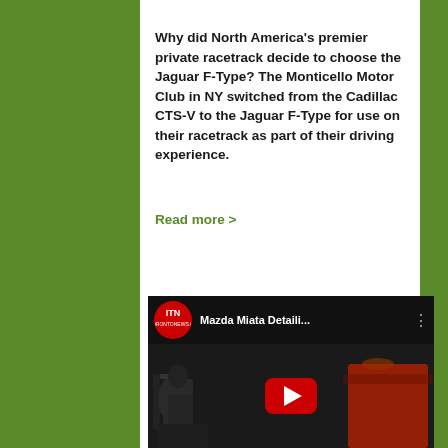Why did North America's premier private racetrack decide to choose the Jaguar F-Type? The Monticello Motor Club in NY switched from the Cadillac CTS-V to the Jaguar F-Type for use on their racetrack as part of their driving experience.
Read more >
[Figure (screenshot): YouTube video thumbnail showing a person next to a red car, with the title 'Mazda Miata Detaili...' and a red play button in the center. The channel logo shows 'ITN' on a red circle background.]